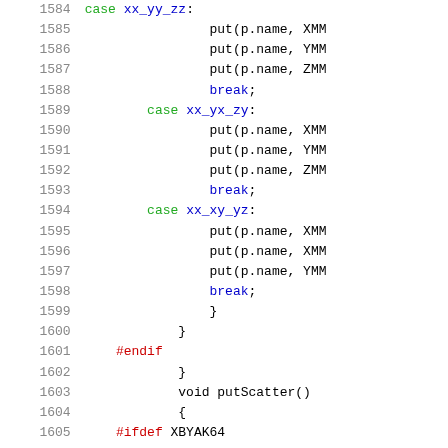[Figure (screenshot): Source code listing showing C++ switch-case code with line numbers 1584-1605, including case xx_yy_zz, case xx_yx_zy, case xx_xy_yz blocks with put() calls, break statements, closing braces, #endif, void putScatter(), and #ifdef XBYAK64]